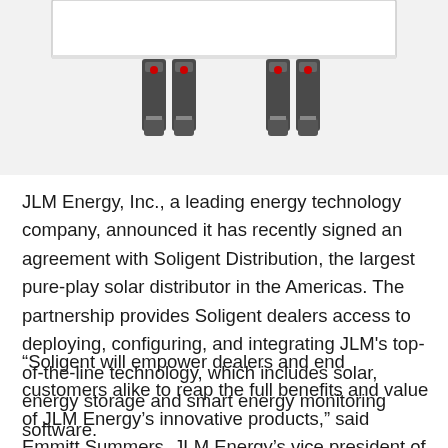[Figure (photo): Bottom portion of a white solar panel or inverter device showing two pairs of dark electrical connectors/cables hanging down from the bottom edge of the unit, against a light gray background.]
JLM Energy, Inc., a leading energy technology company, announced it has recently signed an agreement with Soligent Distribution, the largest pure-play solar distributor in the Americas. The partnership provides Soligent dealers access to deploying, configuring, and integrating JLM's top-of-the-line technology, which includes solar, energy storage and smart energy monitoring software.
“Soligent will empower dealers and end customers alike to reap the full benefits and value of JLM Energy’s innovative products,” said Emmitt Summers, JLM Energy’s vice president of sales. “With the introduction of Phazr, JLM’s first MicroStorage product, we will rely on Soligent for dee…